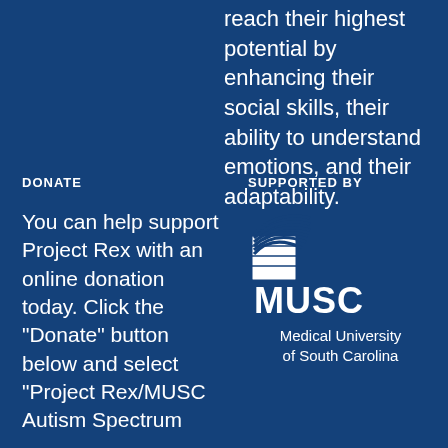reach their highest potential by enhancing their social skills, their ability to understand emotions, and their adaptability.
DONATE
SUPPORTED BY
You can help support Project Rex with an online donation today. Click the "Donate" button below and select "Project Rex/MUSC Autism Spectrum
[Figure (logo): MUSC logo — Medical University of South Carolina logo with building icon and text]